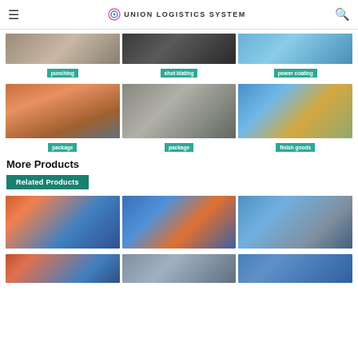Union Logistics System
[Figure (photo): Three warehouse/manufacturing process photos with labels: punching, shot blating, power coating]
[Figure (photo): Three warehouse photos with labels: package, package, finish goods]
More Products
[Figure (photo): Related Products banner with teal background]
[Figure (photo): Three product photos showing warehouse racking systems]
[Figure (photo): Three partial product photos at bottom]